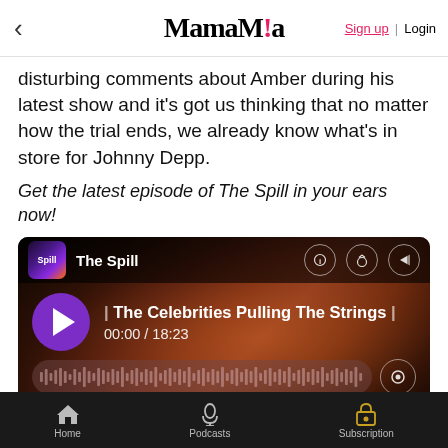MamaMia — Sign up | Login
disturbing comments about Amber during his latest show and it's got us thinking that no matter how the trial ends, we already know what's in store for Johnny Depp.
Get the latest episode of The Spill in your ears now!
[Figure (screenshot): Podcast player widget for 'The Spill' showing episode 'The Celebrities Pulling The Strings' with play button, time 00:00 / 18:23, and waveform progress bar]
If this has raised any issues for you or if you would